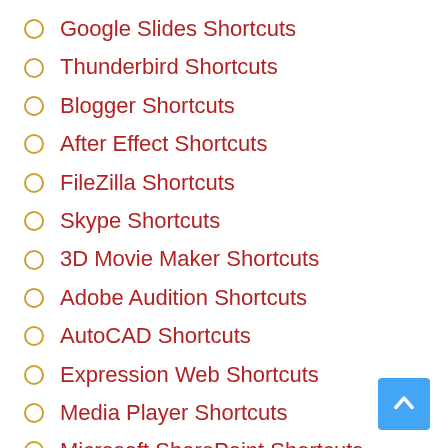Google Slides Shortcuts
Thunderbird Shortcuts
Blogger Shortcuts
After Effect Shortcuts
FileZilla Shortcuts
Skype Shortcuts
3D Movie Maker Shortcuts
Adobe Audition Shortcuts
AutoCAD Shortcuts
Expression Web Shortcuts
Media Player Shortcuts
Microsoft SharePoint Shortcuts